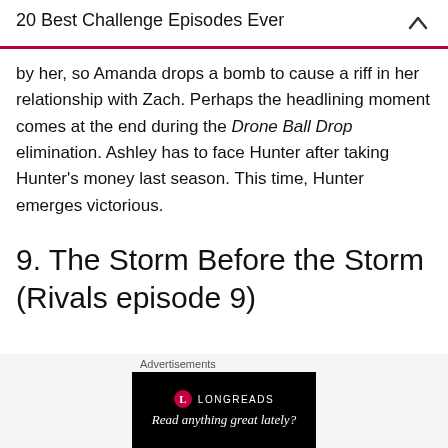20 Best Challenge Episodes Ever
by her, so Amanda drops a bomb to cause a riff in her relationship with Zach. Perhaps the headlining moment comes at the end during the Drone Ball Drop elimination. Ashley has to face Hunter after taking Hunter's money last season. This time, Hunter emerges victorious.
9. The Storm Before the Storm (Rivals episode 9)
Advertisements
[Figure (other): Longreads advertisement banner: black background with Longreads logo and text 'Read anything great lately?']